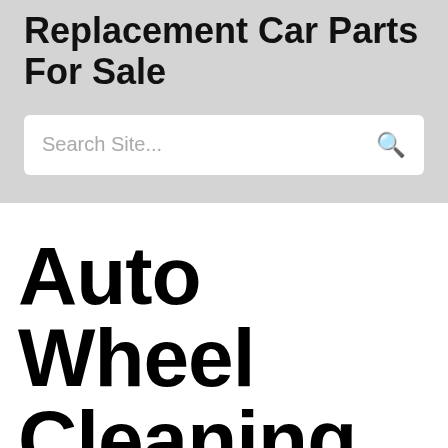Replacement Car Parts For Sale
Search Site...
Auto Wheel Cleaning For